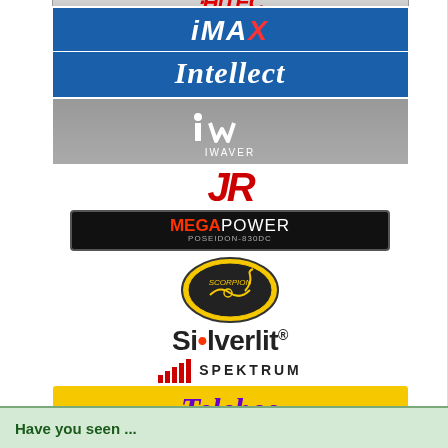[Figure (logo): Hitec logo (partially visible at top)]
[Figure (logo): iMAX logo - blue background with red X]
[Figure (logo): Intellect logo - blue background italic serif]
[Figure (logo): iWaver logo - grey background with stylized iw symbol]
[Figure (logo): JR logo - red italic bold letters]
[Figure (logo): MEGA POWER logo - black background red and white text]
[Figure (logo): Scorpion logo - oval yellow/black with scorpion image]
[Figure (logo): Silverlit logo with registered trademark]
[Figure (logo): Spektrum logo with bar chart icon]
[Figure (logo): Telebee logo - yellow background purple italic text]
[Figure (logo): Walkera logo with Chinese characters]
Have you seen ...
[Figure (other): Fiber Main Blade 135mm - Black (for 4G6, V120D02, V120D03) product card - Price Unavailable]
[Figure (other): Fiber Main Blade - Yellow (for 4G... V120...) product card - Price (partially visible)]
[Figure (other): Graphite Mount (spare for W46009) product card - Price Unavailable]
[Figure (other): Skid Pipes - W46... product card - Price (partially visible)]